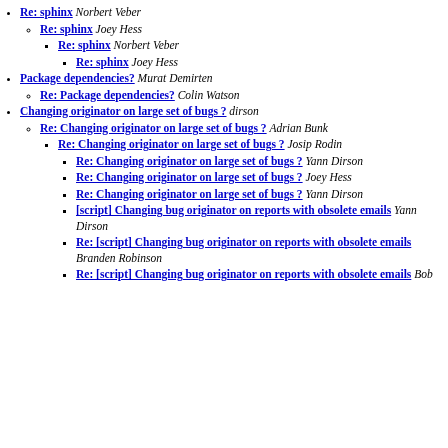Re: sphinx Norbert Veber
Re: sphinx Joey Hess
Re: sphinx Norbert Veber
Re: sphinx Joey Hess
Package dependencies? Murat Demirten
Re: Package dependencies? Colin Watson
Changing originator on large set of bugs ? dirson
Re: Changing originator on large set of bugs ? Adrian Bunk
Re: Changing originator on large set of bugs ? Josip Rodin
Re: Changing originator on large set of bugs ? Yann Dirson
Re: Changing originator on large set of bugs ? Joey Hess
Re: Changing originator on large set of bugs ? Yann Dirson
[script] Changing bug originator on reports with obsolete emails Yann Dirson
Re: [script] Changing bug originator on reports with obsolete emails Branden Robinson
Re: [script] Changing bug originator on reports with obsolete emails Bob